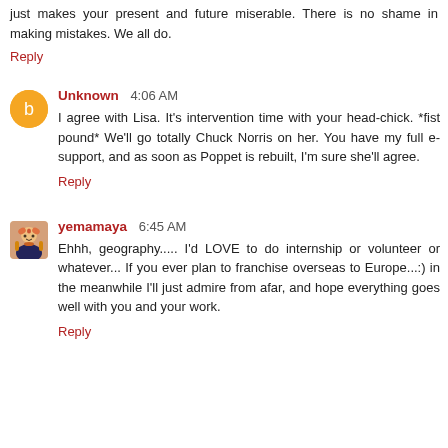just makes your present and future miserable. There is no shame in making mistakes. We all do.
Reply
Unknown  4:06 AM
I agree with Lisa. It's intervention time with your head-chick. *fist pound* We'll go totally Chuck Norris on her. You have my full e-support, and as soon as Poppet is rebuilt, I'm sure she'll agree.
Reply
yemamaya  6:45 AM
Ehhh, geography..... I'd LOVE to do internship or volunteer or whatever... If you ever plan to franchise overseas to Europe...:) in the meanwhile I'll just admire from afar, and hope everything goes well with you and your work.
Reply